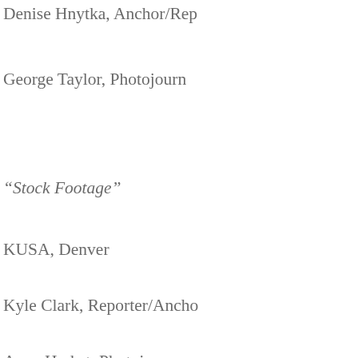Denise Hnytka, Anchor/Re…
George Taylor, Photojourn…
“Stock Footage”
KUSA, Denver
Kyle Clark, Reporter/Ancho…
Anne Herbst, Photojournali…
“Potter Church”
KWTV, Oklahoma City
John Almendarez, Photogr…